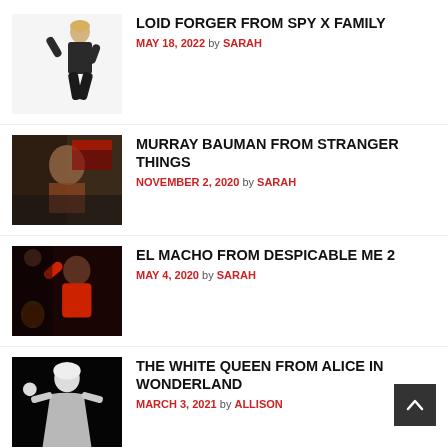LOID FORGER FROM SPY X FAMILY — MAY 18, 2022 by SARAH
MURRAY BAUMAN FROM STRANGER THINGS — NOVEMBER 2, 2020 by SARAH
EL MACHO FROM DESPICABLE ME 2 — MAY 4, 2020 by SARAH
THE WHITE QUEEN FROM ALICE IN WONDERLAND — MARCH 3, 2021 by ALLISON
ROXANNE FROM A GOOFY MOVIE — NOVEMBER 29, 2019 by JOSH